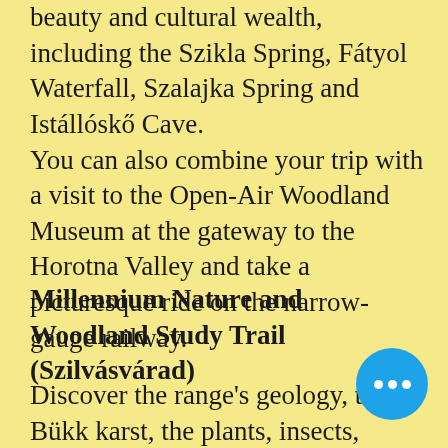beauty and cultural wealth, including the Szikla Spring, Fátyol Waterfall, Szalajka Spring and Istállóskő Cave. You can also combine your trip with a visit to the Open-Air Woodland Museum at the gateway to the Horotna Valley and take a picturesque ride on the narrow-gauge railway.
Millennium Nature and Woodland Study Trail (Szilvásvárad)
Discover the range's geology, the Bükk karst, the plants, insects, carnivorous mammals and bird life and learn about bird conservation in the national park, forestry and game